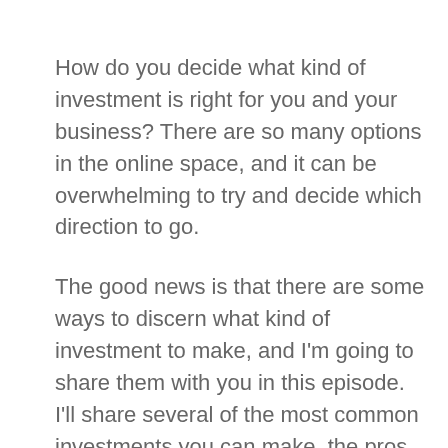How do you decide what kind of investment is right for you and your business? There are so many options in the online space, and it can be overwhelming to try and decide which direction to go.
The good news is that there are some ways to discern what kind of investment to make, and I'm going to share them with you in this episode. I'll share several of the most common investments you can make, the pros and cons of each, and the typical investment level. I'll also share some key questions to ask before making